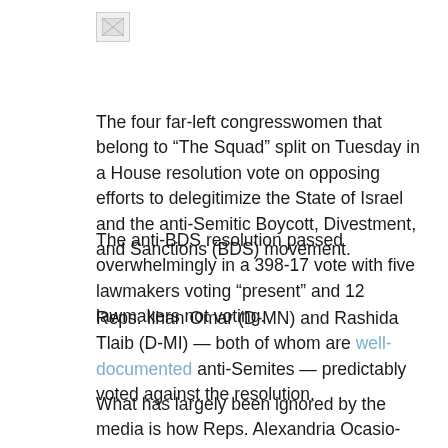[Figure (other): Broken/missing image placeholder icon]
The four far-left congresswomen that belong to “The Squad” split on Tuesday in a House resolution vote on opposing efforts to delegitimize the State of Israel and the anti-Semitic Boycott, Divestment, and Sanctions (BDS) movement.
The anti-BDS resolution passed overwhelmingly in a 398-17 vote with five lawmakers voting “present” and 12 lawmakers not voting.
Reps. Ilhan Omar (D-MN) and Rashida Tlaib (D-MI) — both of whom are well-documented anti-Semites — predictably voted against the resolution.
What has largely been ignored by the media is how Reps. Alexandria Ocasio-Cortez (D-NY) and Ayanna Pressley (D-MA) voted.